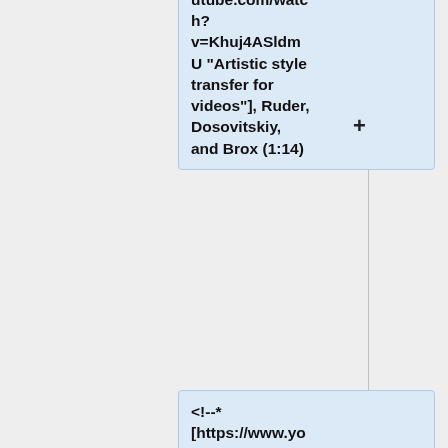utube.com/watch?v=Khuj4ASldmU "Artistic style transfer for videos"], Ruder, Dosovitskiy, and Brox (1:14)
<!--* [https://www.youtube.com/watch?v=EtfCenXsSgQ Handwriting beautification]-->
* [https://www.youtube.com/watch?v=3AIpPlzM_qs "Hi-Res Image